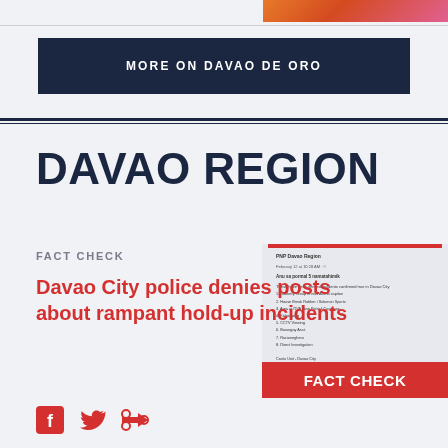[Figure (photo): Partial top-right corner image showing colorful background]
MORE ON DAVAO DE ORO
DAVAO REGION
FACT CHECK
[Figure (screenshot): Screenshot of a Facebook post with a list of items, overlaid with a red FACT CHECK badge]
Davao City police denies posts about rampant hold-up incidents
[Figure (other): Social media share icons: Facebook, Twitter, Share]